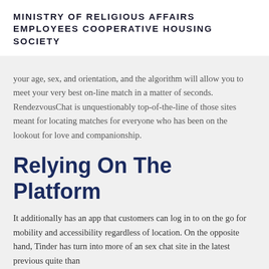MINISTRY OF RELIGIOUS AFFAIRS EMPLOYEES COOPERATIVE HOUSING SOCIETY
your age, sex, and orientation, and the algorithm will allow you to meet your very best on-line match in a matter of seconds. RendezvousChat is unquestionably top-of-the-line of those sites meant for locating matches for everyone who has been on the lookout for love and companionship.
Relying On The Platform
It additionally has an app that customers can log in to on the go for mobility and accessibility regardless of location. On the opposite hand, Tinder has turn into more of an sex chat site in the latest previous quite than